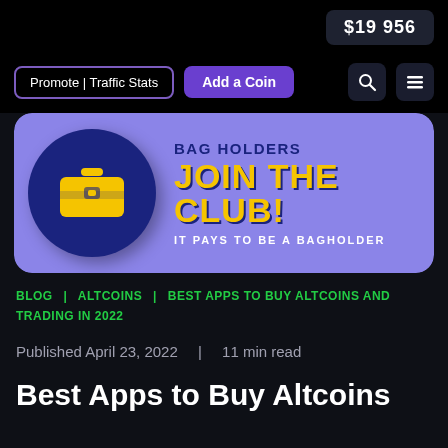$19 956
Promote | Traffic Stats   Add a Coin
[Figure (illustration): Banner ad with purple background, a briefcase icon in a dark blue circle on the left, and text: BAG HOLDERS JOIN THE CLUB! IT PAYS TO BE A BAGHOLDER]
BLOG  |  ALTCOINS  |  BEST APPS TO BUY ALTCOINS AND TRADING IN 2022
Published April 23, 2022  |  11 min read
Best Apps to Buy Altcoins